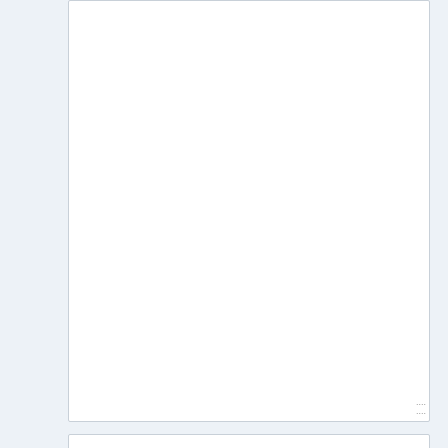[Figure (screenshot): Large empty textarea input box with resize handle at bottom right]
[Figure (screenshot): Name input field with placeholder text 'Name' and red asterisk indicating required field]
[Figure (screenshot): Video overlay panel with text 'Skincare And Haircare Solutions and...' and 'No compatible source was found for this media.' with close button]
[Figure (screenshot): CVS Pharmacy advertisement banner showing 'Beauty & Wellness Deals' with CVS logo and navigation arrow icon, plus play and close buttons below]